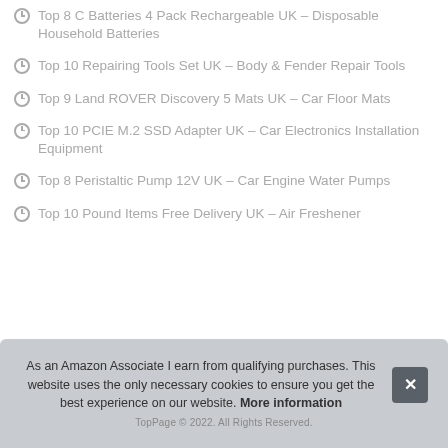Top 8 C Batteries 4 Pack Rechargeable UK – Disposable Household Batteries
Top 10 Repairing Tools Set UK – Body & Fender Repair Tools
Top 9 Land ROVER Discovery 5 Mats UK – Car Floor Mats
Top 10 PCIE M.2 SSD Adapter UK – Car Electronics Installation Equipment
Top 8 Peristaltic Pump 12V UK – Car Engine Water Pumps
Top 10 Pound Items Free Delivery UK – Air Freshener
As an Amazon Associate I earn from qualifying purchases. This website uses the only necessary cookies to ensure you get the best experience on our website. More information
TopPage © 2022. All Rights Reserved.